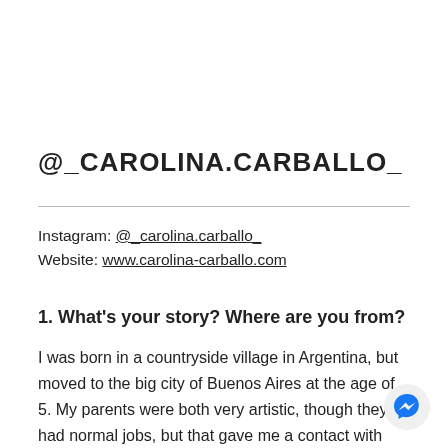@_CAROLINA.CARBALLO_
Instagram: @_carolina.carballo_
Website: www.carolina-carballo.com
1. What's your story? Where are you from?
I was born in a countryside village in Argentina, but moved to the big city of Buenos Aires at the age of 5. My parents were both very artistic, though they had normal jobs, but that gave me a contact with colors and materials as a kid. Studied Graphic Design, and jumped into motion